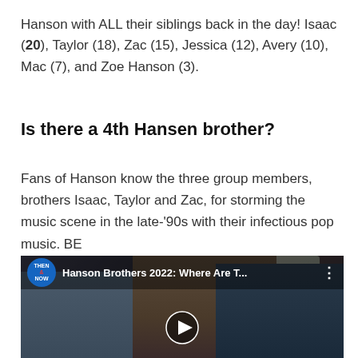Hanson with ALL their siblings back in the day! Isaac (20), Taylor (18), Zac (15), Jessica (12), Avery (10), Mac (7), and Zoe Hanson (3).
Is there a 4th Hansen brother?
Fans of Hanson know the three group members, brothers Isaac, Taylor and Zac, for storming the music scene in the late-'90s with their infectious pop music. BE
[Figure (screenshot): YouTube video thumbnail showing three men (Hanson brothers) with overlay bar reading 'Hanson Brothers 2022: Where Are T...' and a Then & Now badge, with a play button at the bottom center.]